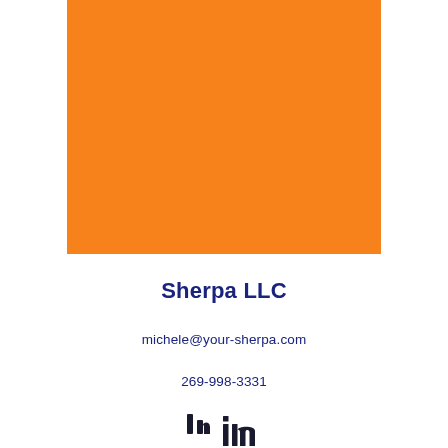[Figure (illustration): Large solid orange rectangle filling upper center portion of the page]
Sherpa LLC
michele@your-sherpa.com
269-998-3331
[Figure (logo): LinkedIn 'in' logo icon in dark navy/black]